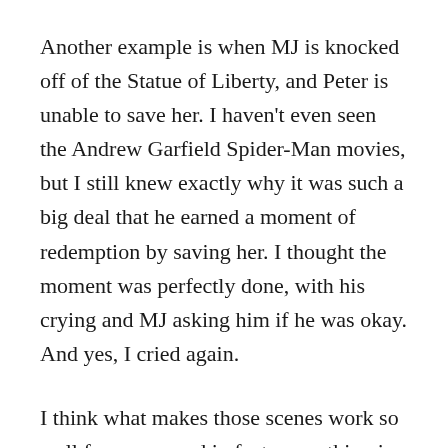Another example is when MJ is knocked off of the Statue of Liberty, and Peter is unable to save her. I haven't even seen the Andrew Garfield Spider-Man movies, but I still knew exactly why it was such a big deal that he earned a moment of redemption by saving her. I thought the moment was perfectly done, with his crying and MJ asking him if he was okay. And yes, I cried again.
I think what makes those scenes work so well for me — and in fact, everything in the last three Spider-Man movies work so well for me — is that it's pure storytelling, setting up and subverting the story at exactly the same pace I'm predicting and reacting to it. I never feel